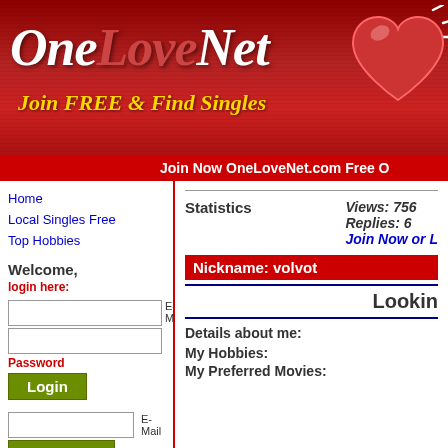[Figure (logo): OneLoveNet logo banner with red background, white and red italic text reading OneLoveNet, tagline 'Join FREE & Find Singles', and a heart graphic on the right]
Join Now OneLeLoveNet.com Free O
Home
Local Singles Free
Top Hobbies
Welcome,
login here:
E-Mail
Password
Login
E-Mail  Send Password
Free Registration
Statistics
Views: 756
Replies: 6
Join Now or L
Nickname: volvot
Lookin
Details about me:
My Hobbies:
My Preferred Movies: